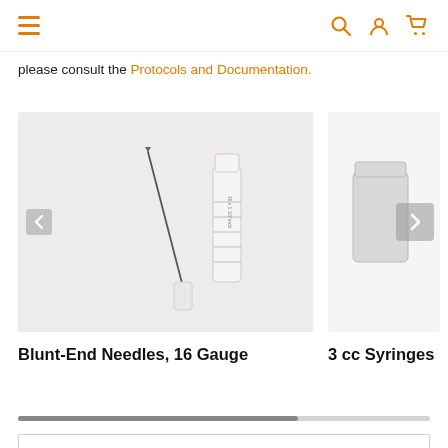Navigation bar with hamburger menu, search, account, and cart icons
please consult the Protocols and Documentation.
[Figure (photo): Photo of a blunt-end needle (long thin metal needle with white hub) and a capped syringe on a light gray background]
Blunt-End Needles, 16 Gauge
[Figure (photo): Partially visible product image on the right side of the carousel — appears to be a syringe product on white/gray background]
3 cc Syringe